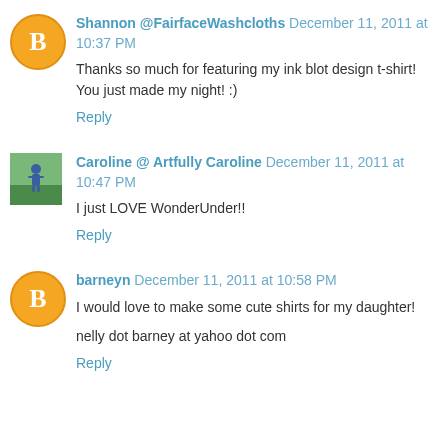Shannon @FairfaceWashcloths December 11, 2011 at 10:37 PM
Thanks so much for featuring my ink blot design t-shirt! You just made my night! :)
Reply
Caroline @ Artfully Caroline December 11, 2011 at 10:47 PM
I just LOVE WonderUnder!!
Reply
barneyn December 11, 2011 at 10:58 PM
I would love to make some cute shirts for my daughter!
nelly dot barney at yahoo dot com
Reply